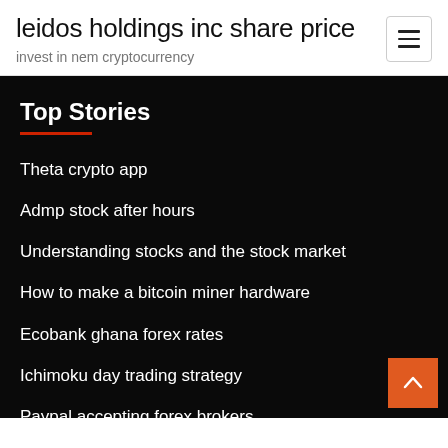leidos holdings inc share price
invest in nem cryptocurrency
Top Stories
Theta crypto app
Admp stock after hours
Understanding stocks and the stock market
How to make a bitcoin miner hardware
Ecobank ghana forex rates
Ichimoku day trading strategy
Paypal accepting forex brokers
How to make investments online